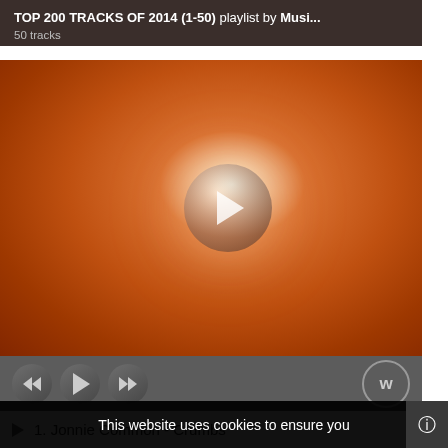TOP 200 TRACKS OF 2014 (1-50) playlist by Musi...
50 tracks
[Figure (screenshot): Music player with orange album art background, large play button in center, playback controls bar at bottom with rewind, play, fast-forward buttons and a W logo button]
1. Jonnie Common - Crumbs
This website uses cookies to ensure you